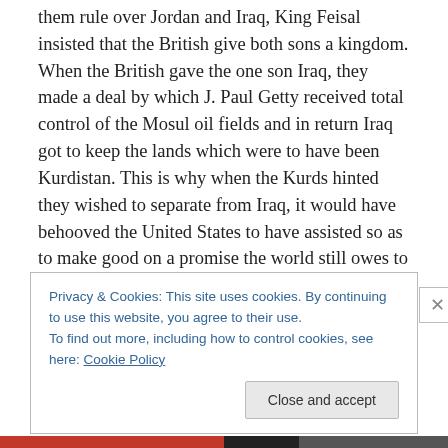them rule over Jordan and Iraq, King Feisal insisted that the British give both sons a kingdom. When the British gave the one son Iraq, they made a deal by which J. Paul Getty received total control of the Mosul oil fields and in return Iraq got to keep the lands which were to have been Kurdistan. This is why when the Kurds hinted they wished to separate from Iraq, it would have behooved the United States to have assisted so as to make good on a promise the world still owes to the Kurds. The British attempted to do the same to the Jews but we decided to ignore the State Department when they informed us that it would be
Privacy & Cookies: This site uses cookies. By continuing to use this website, you agree to their use.
To find out more, including how to control cookies, see here: Cookie Policy